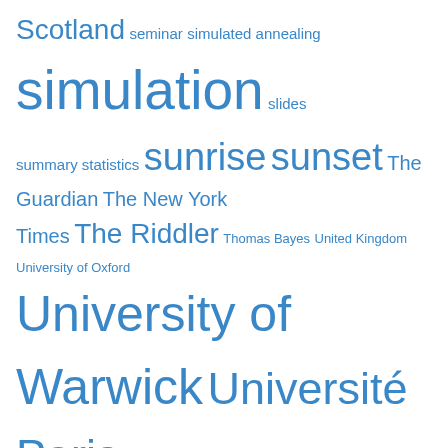Scotland seminar simulated annealing simulation slides summary statistics sunrise sunset The Guardian The New York Times The Riddler Thomas Bayes United Kingdom University of Oxford University of Warwick Université Paris Dauphine USA vacations Venezia workshop
Recent entries
Tigray emergency
one more time around the block [UTMB 22]
COMPSTAT²⁰²²
Mas Foulaquier [Pic Saint-Loup]
remembering Susie
the other side of the dice
nothing's sacred [Charlie Hebdo repost]
hit by Brexit!